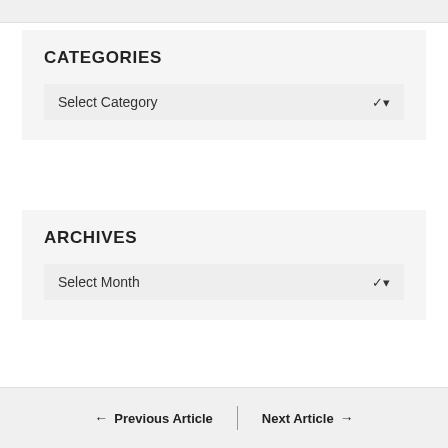CATEGORIES
Select Category
ARCHIVES
Select Month
← Previous Article | Next Article →